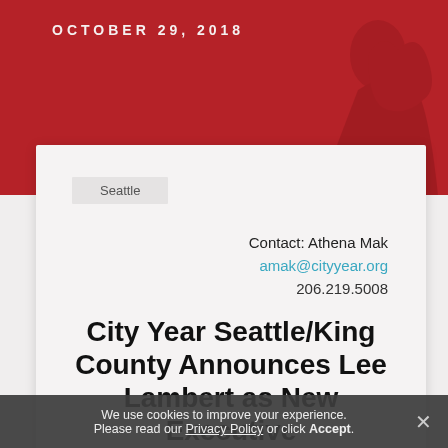OCTOBER 29, 2018
[Figure (illustration): Red banner background with dark silhouette of a person in the upper right]
Seattle
Contact: Athena Mak
amak@cityyear.org
206.219.5008
City Year Seattle/King County Announces Lee Lambert as New Executive
We use cookies to improve your experience. Please read our Privacy Policy or click Accept.